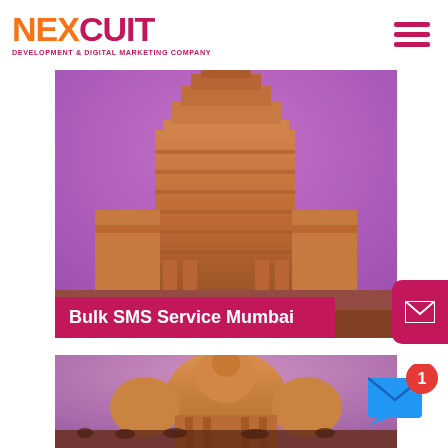[Figure (logo): Nexcuit Development & Digital Marketing Company logo with orange and pink text]
[Figure (photo): Hindu temple with ornate gopuram tower, warm golden-pink tones, with pink banner 'Bulk SMS Service Mumbai']
[Figure (photo): Hindu temple dome structure with crowd of visitors, warm golden-pink tones]